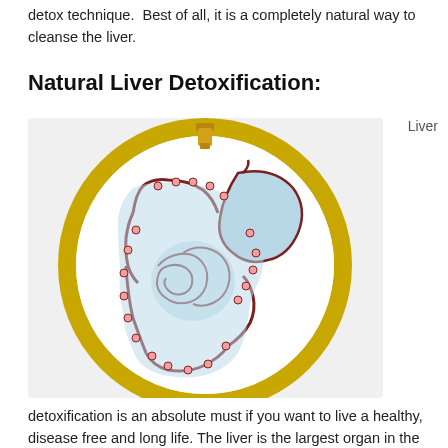detox technique. Best of all, it is a completely natural way to cleanse the liver.
Natural Liver Detoxification:
[Figure (illustration): An embroidery hoop containing a hand-embroidered illustration of the human digestive system (stomach and intestines) in light blue with dark red outlines and pink dot accents, set against a white fabric background with a gold/yellow hoop frame.]
Liver
detoxification is an absolute must if you want to live a healthy, disease free and long life. The liver is the largest organ in the